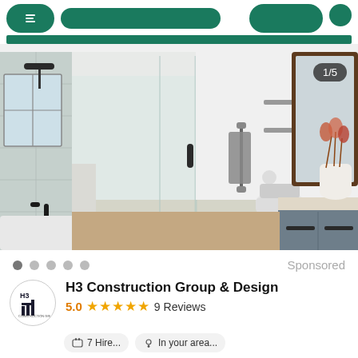[Figure (screenshot): Top navigation bar with green buttons and a green horizontal bar below]
[Figure (photo): Modern bathroom renovation photo showing glass shower enclosure, white tile walls, dark wood mirror frame, gray vanity cabinet, black fixtures, and a white vase with dried flowers. Badge shows 1/5 in upper right.]
1/5
Sponsored
[Figure (logo): H3 Construction Group & Design circular logo with building/bar chart icon]
H3 Construction Group & Design
5.0 ★★★★★ 9 Reviews
7 Hire... • In your area...